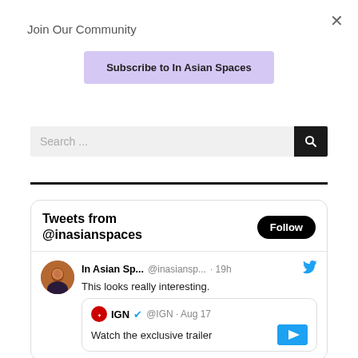Join Our Community
Subscribe to In Asian Spaces
Search ...
[Figure (screenshot): Twitter/Tweets widget showing tweets from @inasianspaces with a Follow button, a tweet by In Asian Sp... @inasiansp... 19h saying 'This looks really interesting.' and a retweet card from @IGN Aug 17 saying 'Watch the exclusive trailer']